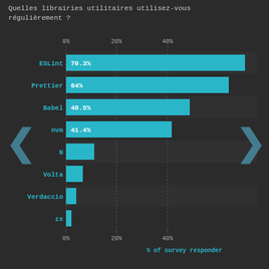Quelles librairies utilitaires utilisez-vous régulièrement ?
[Figure (bar-chart): % of survey responder]